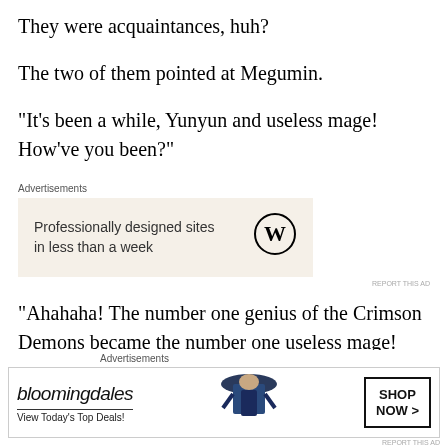They were acquaintances, huh?
The two of them pointed at Megumin.
“It’s been a while, Yunyun and useless mage! How’ve you been?”
[Figure (other): Advertisement for WordPress: 'Professionally designed sites in less than a week' with WordPress logo]
“Ahahaha! The number one genius of the Crimson Demons became the number one useless mage! You’re now the talk of the village!”
Megumin, who was being teased, wordlessly pounced
[Figure (other): Advertisement for Bloomingdale's: 'View Today's Top Deals!' with SHOP NOW > button and model image]